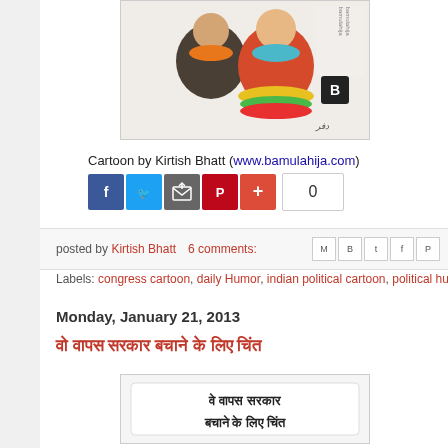[Figure (illustration): Political cartoon by Kirtish Bhatt showing two cartoon characters, one in orange scarf and one in red outfit with teal scarf, with bamulahija.com watermark]
Cartoon by Kirtish Bhatt (www.bamulahija.com)
[Figure (other): Social sharing buttons: Facebook, Twitter, Email, Pinterest, Plus, and a share count showing 0]
posted by Kirtish Bhatt   6 comments:
Labels: congress cartoon, daily Humor, indian political cartoon, political hum...
Monday, January 21, 2013
वो वापस सरकार बचाने के लिए चिंत
[Figure (illustration): Second cartoon image showing Hindi text: वे वापस सरकार बचाने के लिए चिंत]